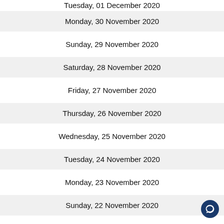Tuesday, 01 December 2020
Monday, 30 November 2020
Sunday, 29 November 2020
Saturday, 28 November 2020
Friday, 27 November 2020
Thursday, 26 November 2020
Wednesday, 25 November 2020
Tuesday, 24 November 2020
Monday, 23 November 2020
Sunday, 22 November 2020
Saturday, 21 November 2020